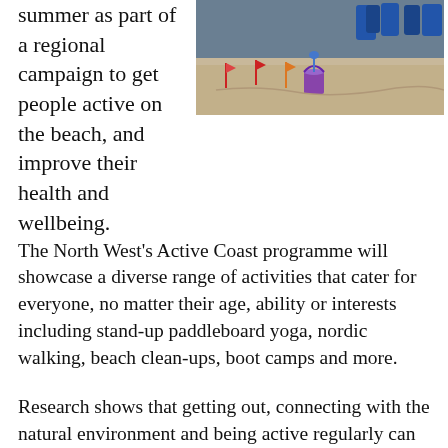summer as part of a regional campaign to get people active on the beach, and improve their health and wellbeing.
[Figure (photo): Beach scene with children in blue uniforms, sand, colorful flags/spades, and a purple bucket]
The North West's Active Coast programme will showcase a diverse range of activities that cater for everyone, no matter their age, ability or interests including stand-up paddleboard yoga, nordic walking, beach clean-ups, boot camps and more.
Research shows that getting out, connecting with the natural environment and being active regularly can have multiple health benefits, from losing weight to improving heart function and relieving anxiety and depression.
Sefton's beaches are a fantastic resource that can help keep people healthy to be demonstrated. The benefits of...